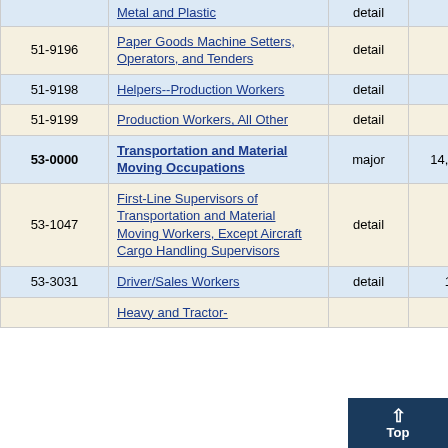| Code | Occupation | Level | Employment |  |
| --- | --- | --- | --- | --- |
| (partial) | Metalworkers, Except Machine and Plastic | detail |  |  |
| 51-9196 | Paper Goods Machine Setters, Operators, and Tenders | detail | 150 | 8 |
| 51-9198 | Helpers--Production Workers | detail | 220 | 8 |
| 51-9199 | Production Workers, All Other | detail | 420 | 6 |
| 53-0000 | Transportation and Material Moving Occupations | major | 14,320 | 1 |
| 53-1047 | First-Line Supervisors of Transportation and Material Moving Workers, Except Aircraft Cargo Handling Supervisors | detail | 660 | 4 |
| 53-3031 | Driver/Sales Workers | detail | 1,25 |  |
|  | Heavy and Tractor- |  |  |  |